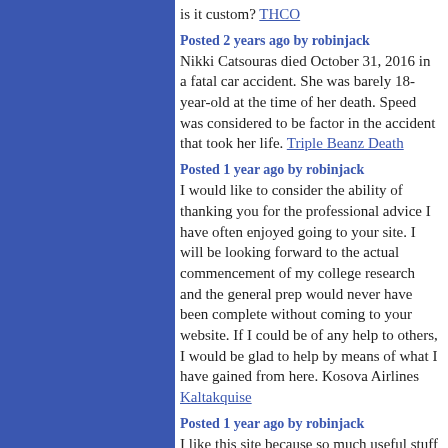is it custom? THCO
Posted 2 years ago by robinjack
Nikki Catsouras died October 31, 2016 in a fatal car accident. She was barely 18-year-old at the time of her death. Speed was considered to be factor in the accident that took her life. Triple Beanz Death
Posted 1 year ago by robinjack
I would like to consider the ability of thanking you for the professional advice I have often enjoyed going to your site. I will be looking forward to the actual commencement of my college research and the general prep would never have been complete without coming to your website. If I could be of any help to others, I would be glad to help by means of what I have gained from here. Kosova Airlines Kaltakquise
Posted 1 year ago by robinjack
I like this site because so much useful stuff on here : D. arcadia bulbs
Posted 1 year ago by robinjack
Several communities possess singles groups which set about enjoyable breast implants aventura things to do